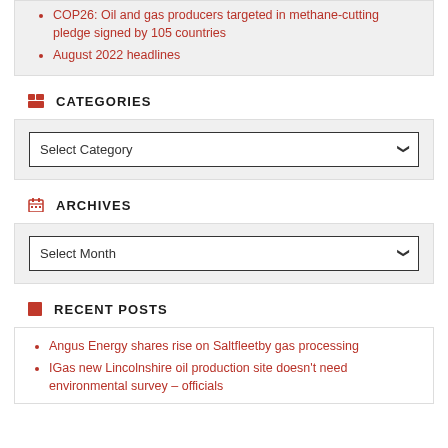COP26: Oil and gas producers targeted in methane-cutting pledge signed by 105 countries
August 2022 headlines
CATEGORIES
Select Category
ARCHIVES
Select Month
RECENT POSTS
Angus Energy shares rise on Saltfleetby gas processing
IGas new Lincolnshire oil production site doesn't need environmental survey – officials